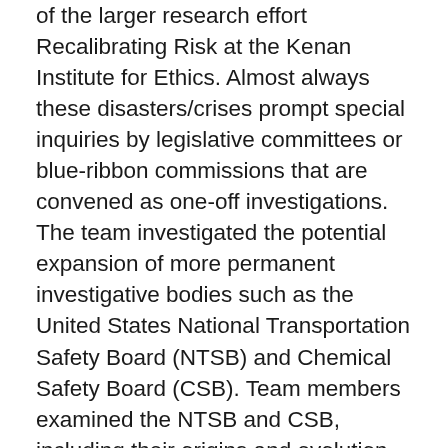of the larger research effort Recalibrating Risk at the Kenan Institute for Ethics. Almost always these disasters/crises prompt special inquiries by legislative committees or blue-ribbon commissions that are convened as one-off investigations. The team investigated the potential expansion of more permanent investigative bodies such as the United States National Transportation Safety Board (NTSB) and Chemical Safety Board (CSB). Team members examined the NTSB and CSB, including their origins and evolution and their institutional strengths and weaknesses. The project included travel to Washington, DC, to interview NTSB and CSB officials, as a means of fleshing out their organizational culture, professional ethos and sense of independence. Team members also interviewed officials at financial, energy and environmental agencies to explore whether and